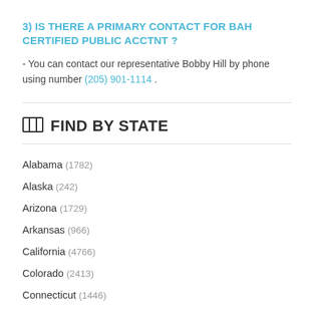3) IS THERE A PRIMARY CONTACT FOR BAH CERTIFIED PUBLIC ACCTNT ?
- You can contact our representative Bobby Hill by phone using number (205) 901-1114 .
FIND BY STATE
Alabama (1782)
Alaska (242)
Arizona (1729)
Arkansas (966)
California (4766)
Colorado (2413)
Connecticut (1446)